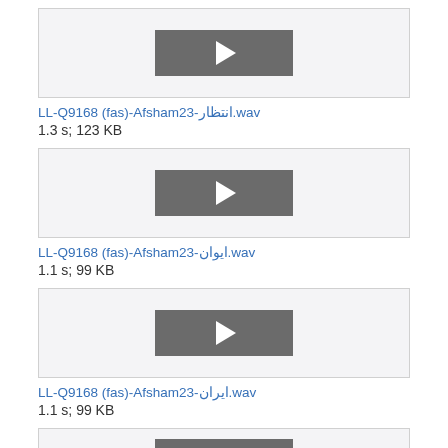[Figure (other): Audio player with play button for first file]
LL-Q9168 (fas)-Afsham23-انتظار.wav
1.3 s; 123 KB
[Figure (other): Audio player with play button for second file]
LL-Q9168 (fas)-Afsham23-ایوان.wav
1.1 s; 99 KB
[Figure (other): Audio player with play button for third file]
LL-Q9168 (fas)-Afsham23-ایران.wav
1.1 s; 99 KB
[Figure (other): Audio player with play button for fourth file (partially visible)]